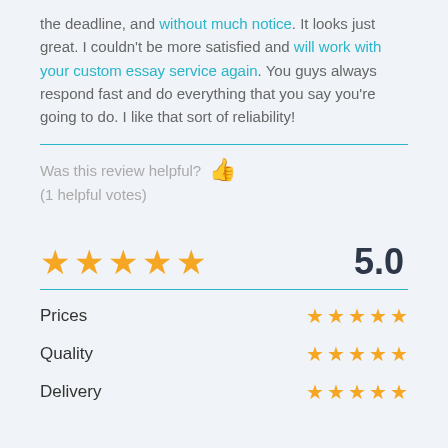the deadline, and without much notice. It looks just great. I couldn't be more satisfied and will work with your custom essay service again. You guys always respond fast and do everything that you say you're going to do. I like that sort of reliability!
Was this review helpful? 👍 (1 helpful votes)
[Figure (other): Five orange stars rating display showing 5.0 score, followed by sub-ratings for Prices, Quality, and Delivery each with five orange stars]